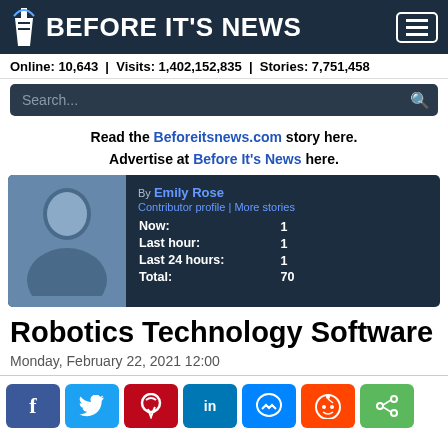BEFORE IT'S NEWS
Online: 10,643 | Visits: 1,402,152,835 | Stories: 7,751,458
Search...
Read the Beforeitsnews.com story here. Advertise at Before It's News here.
[Figure (other): User profile card for Emily Rose showing avatar silhouette, contributor profile link, and story stats: Now: 1, Last hour: 1, Last 24 hours: 1, Total: 70]
Robotics Technology Software
Monday, February 22, 2021 12:00
[Figure (other): Social share buttons: Facebook, Twitter, Pinterest, LinkedIn, Messenger, Reddit, Share]